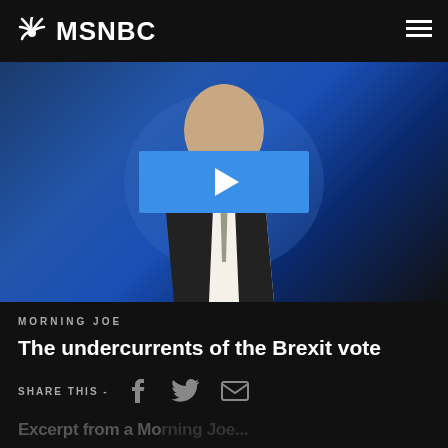MSNBC
[Figure (screenshot): Video thumbnail showing a man in a suit with a blue play button overlay on a blue gradient background]
MORNING JOE
The undercurrents of the Brexit vote
SHARE THIS - [Facebook icon] [Twitter icon] [Email icon]
Excerpt from a Morning Joe segment...